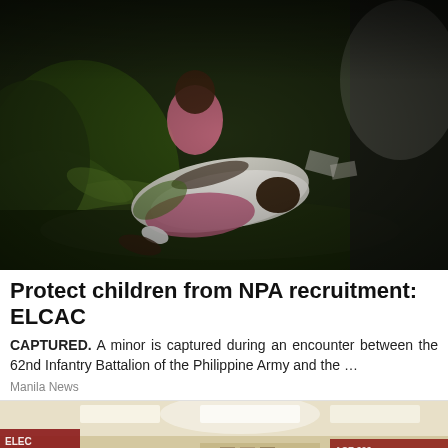[Figure (photo): A minor captured lying on the ground outdoors at night, surrounded by vegetation, during a military encounter. The image is dark with green foliage visible.]
Protect children from NPA recruitment: ELCAC
CAPTURED. A minor is captured during an encounter between the 62nd Infantry Battalion of the Philippine Army and the …
Manila News
[Figure (photo): Interior of a building or market, with signage visible including partial text. A person is visible in the lower left. Overhead lighting illuminates the interior.]